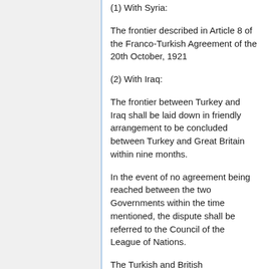(1) With Syria:
The frontier described in Article 8 of the Franco-Turkish Agreement of the 20th October, 1921
(2) With Iraq:
The frontier between Turkey and Iraq shall be laid down in friendly arrangement to be concluded between Turkey and Great Britain within nine months.
In the event of no agreement being reached between the two Governments within the time mentioned, the dispute shall be referred to the Council of the League of Nations.
The Turkish and British Governments reciprocally undertake that, pending the decision to be reached on the subject of the frontier, no military or other